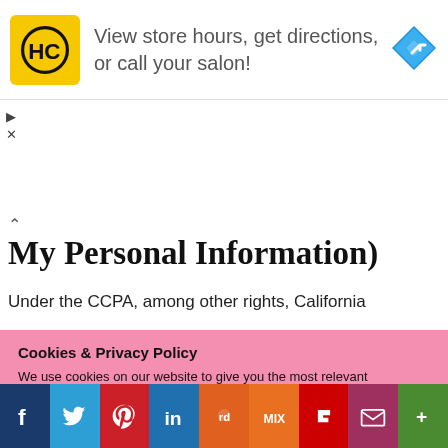[Figure (logo): HC yellow logo with stylized HC letters in black circle]
View store hours, get directions, or call your salon!
[Figure (illustration): Blue diamond navigation arrow icon]
My Personal Information)
Under the CCPA, among other rights, California
Cookies & Privacy Policy
We use cookies on our website to give you the most relevant experience by remembering your preferences and repeat visits. By clicking “Accept”, you consent to the use of ALL the cookies. For more information, please read our 'Disclosure' page.
Do not sell my personal information.
Cookie Settings   Accept
[Figure (infographic): Social media share bar with Facebook, Twitter, Pinterest, LinkedIn, Reddit, Mix, Flipboard, Email, More buttons]